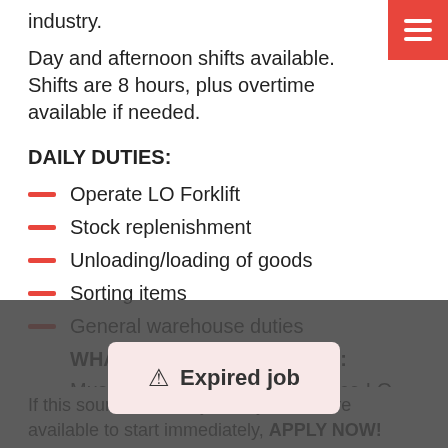industry.
Day and afternoon shifts available. Shifts are 8 hours, plus overtime available if needed.
DAILY DUTIES:
Operate LO Forklift
Stock replenishment
Unloading/loading of goods
Sorting items
General warehouse duties
WHAT WE NEED FROM YOU:
Must hold a valid Forklift Licence LO
Positive work eth…
Attitude to want … op your skills
Car and driver's license an advantage
If this sounds like the job for you and are available to start immediately, APPLY NOW!